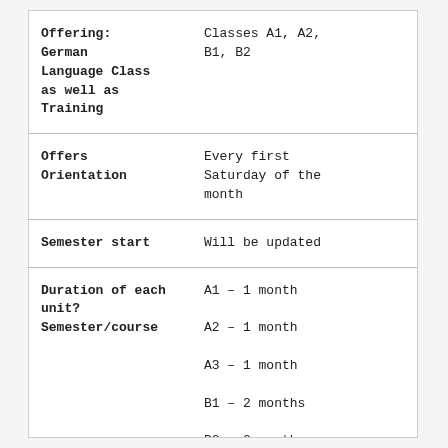| Field | Value |
| --- | --- |
| Offering: German Language Class as well as Training | Classes A1, A2, B1, B2 |
| Offers Orientation | Every first Saturday of the month |
| Semester start | Will be updated |
| Duration of each unit?
Semester/course | A1 – 1 month
A2 – 1 month
A3 – 1 month
B1 – 2 months
B2 – 2 months |
| Class hours: | Mo, Fr |